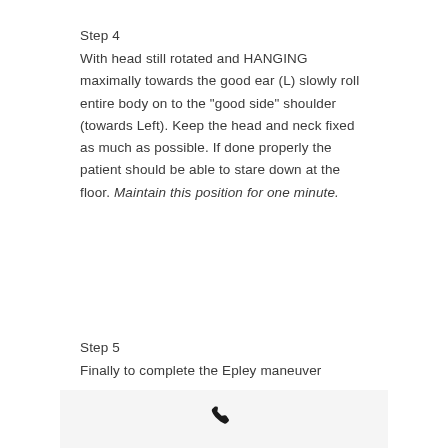Step 4
With head still rotated and HANGING maximally towards the good ear (L) slowly roll entire body on to the "good side" shoulder (towards Left). Keep the head and neck fixed as much as possible. If done properly the patient should be able to stare down at the floor. Maintain this position for one minute.
Step 5
Finally to complete the Epley maneuver
[Figure (illustration): A phone/telephone icon inside a light gray box at the bottom of the page]